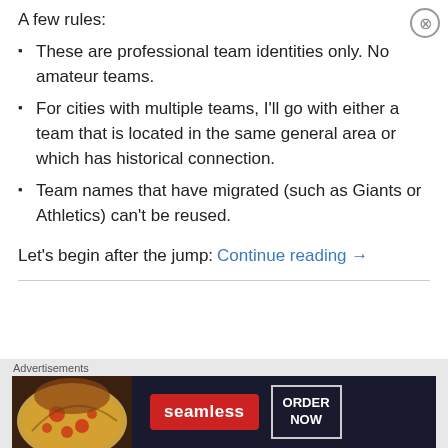A few rules:
These are professional team identities only. No amateur teams.
For cities with multiple teams, I'll go with either a team that is located in the same general area or which has historical connection.
Team names that have migrated (such as Giants or Athletics) can't be reused.
Let's begin after the jump:
Continue reading →
[Figure (screenshot): Seamless food ordering advertisement banner with pizza image, seamless logo button in red, and ORDER NOW button]